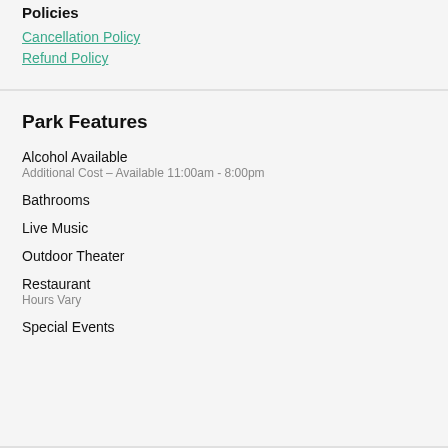Policies
Cancellation Policy
Refund Policy
Park Features
Alcohol Available
Additional Cost – Available 11:00am - 8:00pm
Bathrooms
Live Music
Outdoor Theater
Restaurant
Hours Vary
Special Events